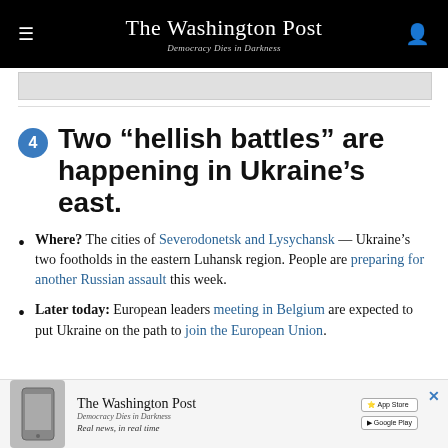The Washington Post — Democracy Dies in Darkness
4 Two “hellish battles” are happening in Ukraine’s east.
Where? The cities of Severodonetsk and Lysychansk — Ukraine’s two footholds in the eastern Luhansk region. People are preparing for another Russian assault this week.
Later today: European leaders meeting in Belgium are expected to put Ukraine on the path to join the European Union.
[Figure (screenshot): Washington Post app advertisement with phone graphic, App Store and Google Play buttons]